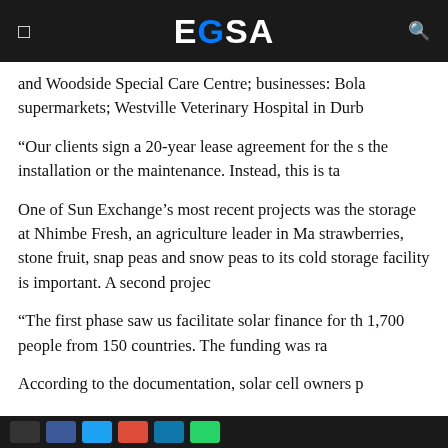EGSA
and Woodside Special Care Centre; businesses: Bola supermarkets; Westville Veterinary Hospital in Durb
“Our clients sign a 20-year lease agreement for the s the installation or the maintenance. Instead, this is ta
One of Sun Exchange’s most recent projects was the storage at Nhimbe Fresh, an agriculture leader in Ma strawberries, stone fruit, snap peas and snow peas to its cold storage facility is important. A second projec
“The first phase saw us facilitate solar finance for th 1,700 people from 150 countries. The funding was ra
According to the documentation, solar cell owners p